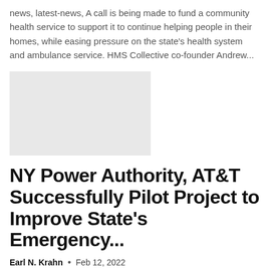news, latest-news, A call is being made to fund a community health service to support it to continue helping people in their homes, while easing pressure on the state's health system and ambulance service. HMS Collective co-founder Andrew...
[Figure (photo): Light grey placeholder image rectangle]
NY Power Authority, AT&T Successfully Pilot Project to Improve State's Emergency...
Earl N. Krahn  •  Feb 12, 2022
STATEN ISLAND, NY - Governor Kathy Hochul on Friday